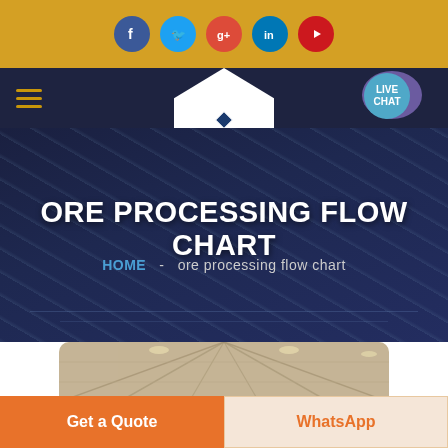[Figure (screenshot): Website screenshot showing social media icon bar (Facebook, Twitter, Google+, LinkedIn, YouTube) on gold background, navigation bar with hamburger menu and SHM logo, hero banner with text 'ORE PROCESSING FLOW CHART' and breadcrumb 'HOME - ore processing flow chart', a warehouse photo partial view at bottom, and two CTA buttons: 'Get a Quote' and 'WhatsApp']
ORE PROCESSING FLOW CHART
HOME  -  ore processing flow chart